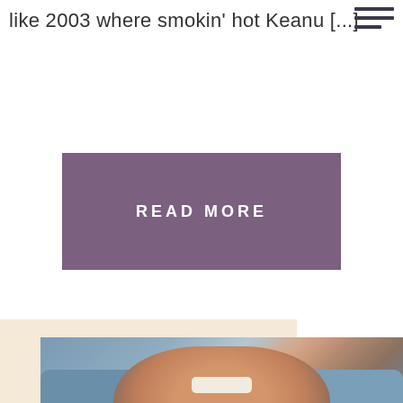like 2003 where smokin' hot Keanu [...]
READ MORE
[Figure (photo): A woman laughing with head tilted back, wearing a blue-grey sweater, photographed from above, upside-down orientation, lying on a light blue surface. Long dark hair visible.]